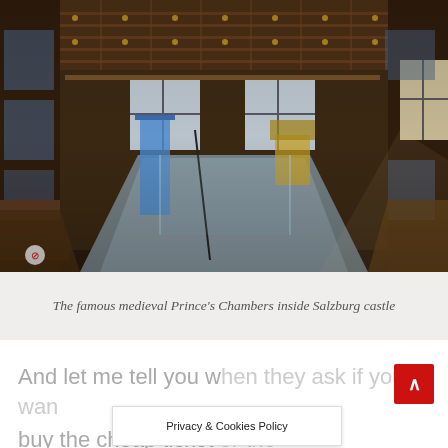[Figure (photo): Interior photograph of the famous medieval Prince's Chambers inside Salzburg castle, showing ornate wooden ceiling with geometric patterns, decorated walls with blue and gold motifs, a long central carpet runner, display stands, and windows at the far end letting in natural light.]
The famous medieval Prince's Chambers inside Salzburg castle
And let me tell you when they ask if you wan buy the cheap ticket or the